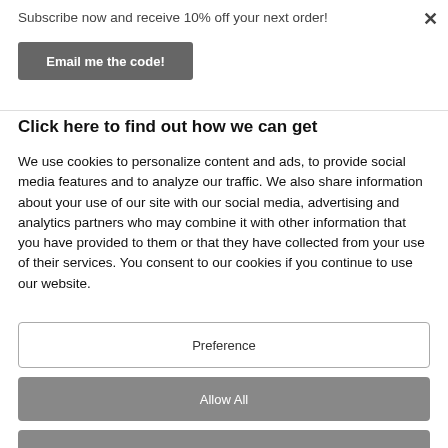Subscribe now and receive 10% off your next order!
Email me the code!
Click here to find out how we can get
We use cookies to personalize content and ads, to provide social media features and to analyze our traffic. We also share information about your use of our site with our social media, advertising and analytics partners who may combine it with other information that you have provided to them or that they have collected from your use of their services. You consent to our cookies if you continue to use our website.
Preference
Allow All
Disable All